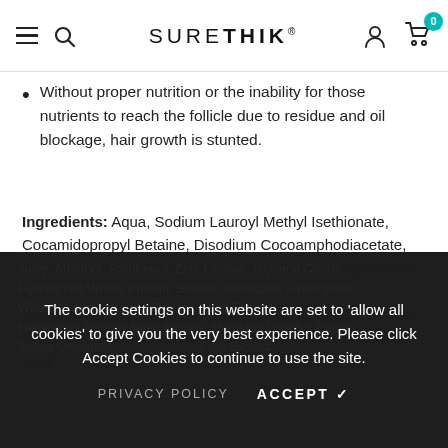SURETHIK
Without proper nutrition or the inability for those nutrients to reach the follicle due to residue and oil blockage, hair growth is stunted.
Ingredients: Aqua, Sodium Lauroyl Methyl Isethionate, Cocamidopropyl Betaine, Disodium Cocoamphodiacetate, Glycerin, Lauryl Methyl Gluceth-10 Hydroxypropyldimonium Chloride, Gluconolactone, Dicaprylyl Ether, Propylene Glycol, Tetrasodium Glutamate Diacetate, Decyl Glucoside, Citric Acid, Aloe Barbadensis Leaf Juice, Menthol, Panthenol, Zinc Lactate, Glyceryl Oleate, Hydrolyzed Wheat Protein, Sodium Benzoate, Hydrolyzed Wheat Starch, Mentha Piperita Seed Extract, Helianthus Annuus Seed Extract, Humulus Lupulus Extract, Salvia Officinalis Leaf Extract, Punica Granatum Fruit Extract.
The cookie settings on this website are set to 'allow all cookies' to give you the very best experience. Please click Accept Cookies to continue to use the site.
PRIVACY POLICY   ACCEPT ✓